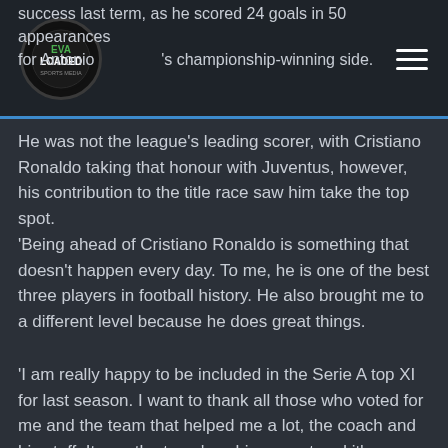Eva Loaded [logo]
success last term, as he scored 24 goals in 50 appearances for Antonio [Conte]'s championship-winning side.
He was not the league's leading scorer, with Cristiano Ronaldo taking that honour with Juventus, however, his contribution to the title race saw him take the top spot.
'Being ahead of Cristiano Ronaldo is something that doesn't happen every day. To me, he is one of the best three players in football history. He also brought me to a different level because he does great things.
'I am really happy to be included in the Serie A top XI for last season. I want to thank all those who voted for me and the team that helped me a lot, the coach and his staff. It was the team's achievement and it's an honour to be in the top XI.